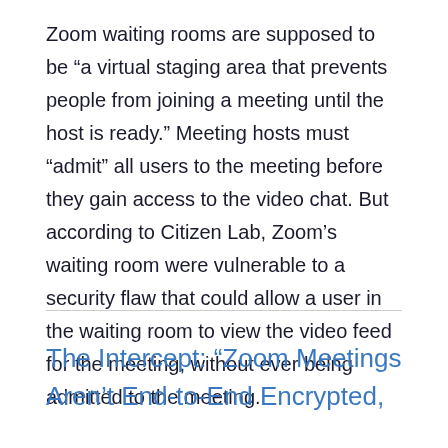Zoom waiting rooms are supposed to be “a virtual staging area that prevents people from joining a meeting until the host is ready.” Meeting hosts must “admit” all users to the meeting before they gain access to the video chat. But according to Citizen Lab, Zoom’s waiting room were vulnerable to a security flaw that could allow a user in the waiting room to view the video feed for the meeting, without ever being admitted to the meeting.
The Intercept: “Zoom Meetings Aren’t End-to-End Encrypted,